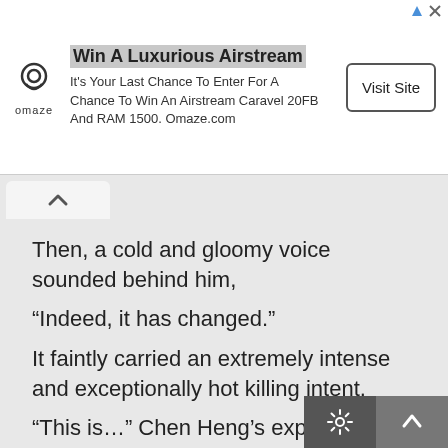[Figure (screenshot): Advertisement banner for Omaze featuring logo, headline 'Win A Luxurious Airstream', body text, and Visit Site button]
Then, a cold and gloomy voice sounded behind him,
“Indeed, it has changed.”
It faintly carried an extremely intense and exceptionally hot killing intent.
“This is…” Chen Heng’s expression immediately changed.